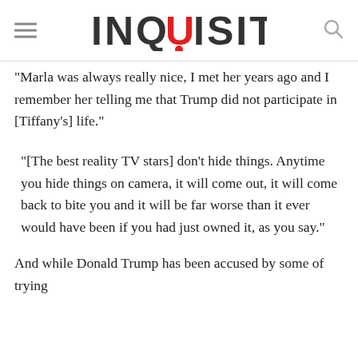INQUISITR
"Marla was always really nice, I met her years ago and I remember her telling me that Trump did not participate in [Tiffany's] life."
"[The best reality TV stars] don't hide things. Anytime you hide things on camera, it will come out, it will come back to bite you and it will be far worse than it ever would have been if you had just owned it, as you say."
And while Donald Trump has been accused by some of trying